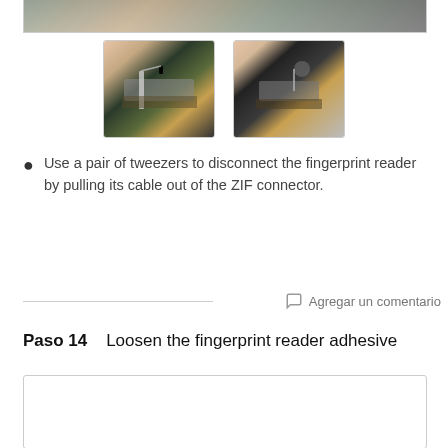[Figure (photo): Top portion of a disassembly photo showing internal components of a device, partially cropped.]
[Figure (photo): Left thumbnail photo showing tweezers disconnecting a fingerprint reader cable from a ZIF connector on a circuit board.]
[Figure (photo): Right thumbnail photo showing a close-up of the ZIF connector area on a circuit board with tweezers.]
Use a pair of tweezers to disconnect the fingerprint reader by pulling its cable out of the ZIF connector.
Agregar un comentario
Paso 14    Loosen the fingerprint reader adhesive
[Figure (photo): Bottom photo area partially visible, showing the start of the next step's image content.]